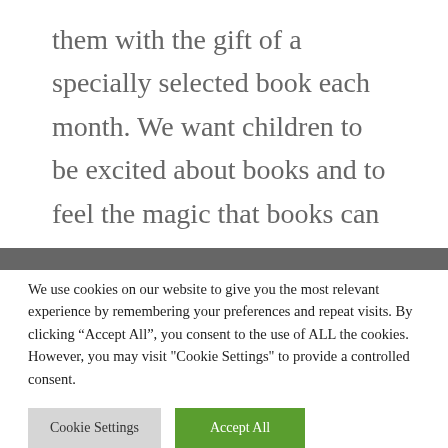them with the gift of a specially selected book each month. We want children to be excited about books and to feel the magic that books can create.
We use cookies on our website to give you the most relevant experience by remembering your preferences and repeat visits. By clicking “Accept All”, you consent to the use of ALL the cookies. However, you may visit "Cookie Settings" to provide a controlled consent.